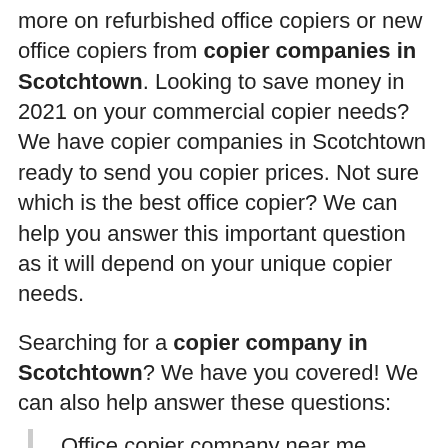more on refurbished office copiers or new office copiers from copier companies in Scotchtown. Looking to save money in 2021 on your commercial copier needs? We have copier companies in Scotchtown ready to send you copier prices. Not sure which is the best office copier? We can help you answer this important question as it will depend on your unique copier needs.
Searching for a copier company in Scotchtown? We have you covered! We can also help answer these questions:
Office copier company near me
How much does a copier lease cost?
How much is an office photocopier?
How much does a Ricoh copier cost?
What are the best office copiers?
Best commercial copiers 2021